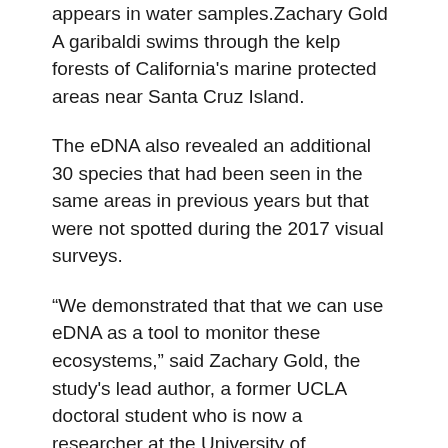appears in water samples.Zachary Gold A garibaldi swims through the kelp forests of California's marine protected areas near Santa Cruz Island.
The eDNA also revealed an additional 30 species that had been seen in the same areas in previous years but that were not spotted during the 2017 visual surveys.
“We demonstrated that that we can use eDNA as a tool to monitor these ecosystems,” said Zachary Gold, the study's lead author, a former UCLA doctoral student who is now a researcher at the University of Washington and National Oceanic and Atmospheric Administration. “This is an opportunity going forward to expand the scope and scale of monitoring marine protected areas.”
Wider use of eDNA could help scientists overcome